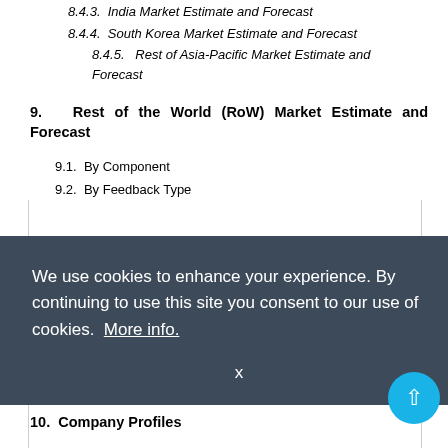8.4.3.  India Market Estimate and Forecast
8.4.4.  South Korea Market Estimate and Forecast
8.4.5.   Rest of Asia-Pacific Market Estimate and Forecast
9.   Rest of the World (RoW) Market Estimate and Forecast
9.1.  By Component
9.2.  By Feedback Type
We use cookies to enhance your experience. By continuing to use this site you consent to our use of cookies.  More info.
X
10.  Company Profiles